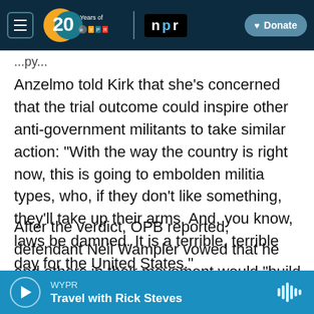[Figure (screenshot): WYPR 20 Years / NPR navigation bar with hamburger menu, WYPR 20th anniversary logo, NPR logo, and Donate button on dark navy background]
...py...
Anzelmo told Kirk that she's concerned that the trial outcome could inspire other anti-government militants to take similar action: "With the way the country is right now, this is going to embolden militia types, who, if they don't like something, they'll take up their arms. And, you know, laws be damned. It is a terrible, terrible day for the United States."
After the verdict, OPB reported, defendant Neil Wampler vowed that he and others in their movement would "build on this tremendous victory
[Figure (screenshot): Audio player bar for WYPR showing Travel with Rick Steves, with play button and waveform icon on blue background]